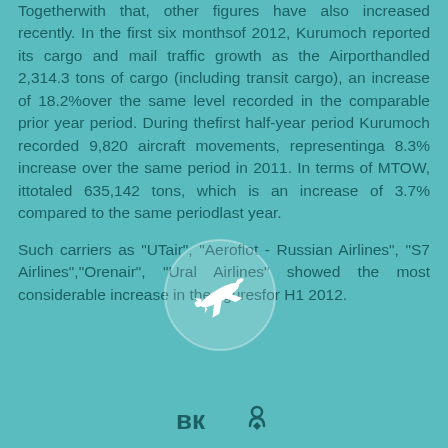Togetherwith that, other figures have also increased recently. In the first six monthsof 2012, Kurumoch reported its cargo and mail traffic growth as the Airporthandled 2,314.3 tons of cargo (including transit cargo), an increase of 18.2%over the same level recorded in the comparable prior year period. During thefirst half-year period Kurumoch recorded 9,820 aircraft movements, representinga 8.3% increase over the same period in 2011. In terms of MTOW, ittotaled 635,142 tons, which is an increase of 3.7% compared to the same periodlast year.

Such carriers as "UTair", "Aeroflot - Russian Airlines", "S7 Airlines","Orenair", "Ural Airlines" showed the most considerable increase in the figuresfor H1 2012.
[Figure (illustration): Airplane silhouette icon with circular background overlay]
[Figure (logo): VK and OK (Odnoklassniki) social media logos at the bottom of the page]